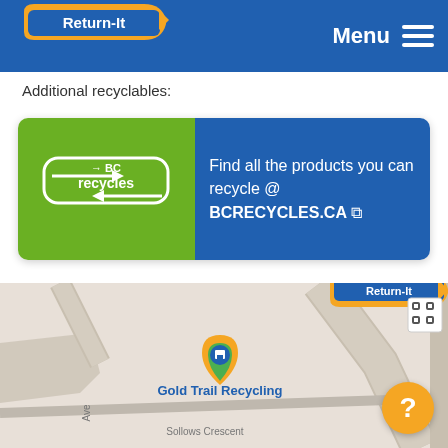Return-It | Menu
Additional recyclables:
[Figure (infographic): BC Recycles banner with green left panel showing BC Recycles logo and blue right panel with text: Find all the products you can recycle @ BCRECYCLES.CA]
[Figure (map): Street map showing Return-It location marker and Gold Trail Recycling on Sollows Crescent]